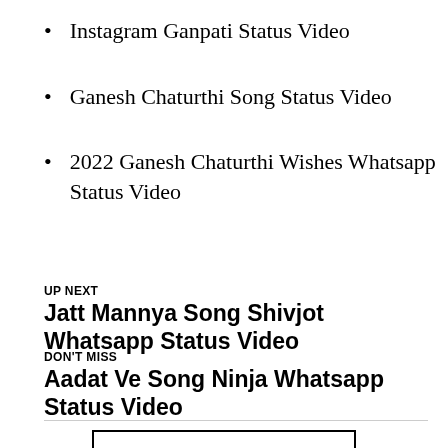Instagram Ganpati Status Video
Ganesh Chaturthi Song Status Video
2022 Ganesh Chaturthi Wishes Whatsapp Status Video
UP NEXT
Jatt Mannya Song Shivjot Whatsapp Status Video
DON'T MISS
Aadat Ve Song Ninja Whatsapp Status Video
CLICK TO COMMENT